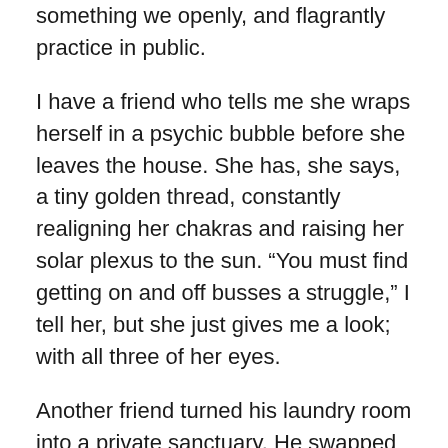something we openly, and flagrantly practice in public.
I have a friend who tells me she wraps herself in a psychic bubble before she leaves the house. She has, she says, a tiny golden thread, constantly realigning her chakras and raising her solar plexus to the sun. “You must find getting on and off busses a struggle,” I tell her, but she just gives me a look; with all three of her eyes.
Another friend turned his laundry room into a private sanctuary. He swapped the Daz three in ones for buddha figurines from TK Maxx and Yankee Candles that, he claims, evoke the calm of an English country garden in springtime. In reality it smells like there’s been an explosion in the Zoflora bottling plant. He recommends a trip to Lush, on Church Street. So I sign